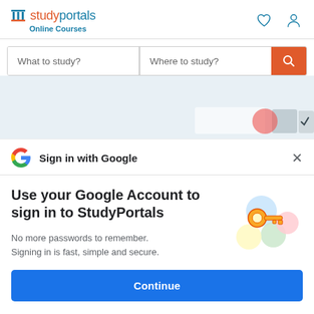[Figure (logo): StudyPortals Online Courses logo with pillar icon, orange 'study' and blue 'portals' text, blue 'Online Courses' subtitle]
[Figure (screenshot): Search bar with 'What to study?' and 'Where to study?' fields and orange search button]
[Figure (screenshot): Light blue banner area with partial content visible]
[Figure (screenshot): Google Sign-in popup with Google G logo and 'Sign in with Google' title and X close button]
Use your Google Account to sign in to StudyPortals
No more passwords to remember.
Signing in is fast, simple and secure.
[Figure (illustration): Colorful illustration of a key with circular elements in blue, yellow, green, and red/pink]
Continue